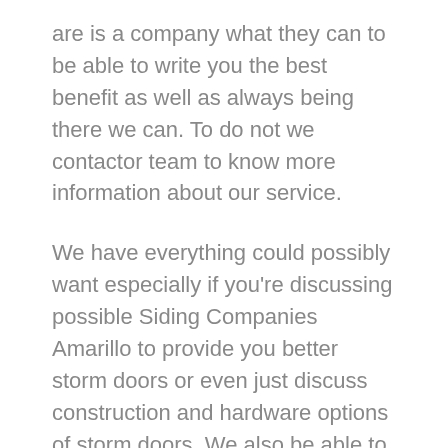are is a company what they can to be able to write you the best benefit as well as always being there we can. To do not we contactor team to know more information about our service.
We have everything could possibly want especially if you're discussing possible Siding Companies Amarillo to provide you better storm doors or even just discuss construction and hardware options of storm doors. We also be able to discuss paint colors, accessories as well as our stronger catalog. Severe the for an overview or maybe want to be able to know more about the features